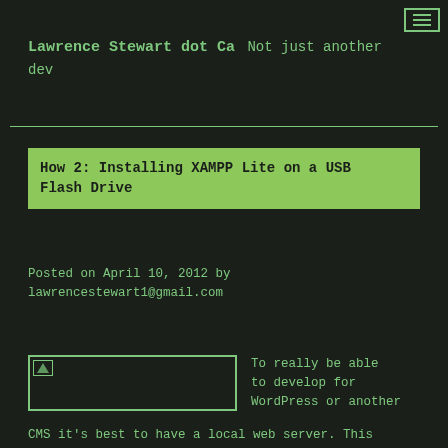Lawrence Stewart dot Ca Not just another dev
How 2: Installing XAMPP Lite on a USB Flash Drive
Posted on April 10, 2012 by lawrencestewart1@gmail.com
[Figure (photo): Placeholder image thumbnail]
To really be able to develop for WordPress or another CMS it's best to have a local web server. This